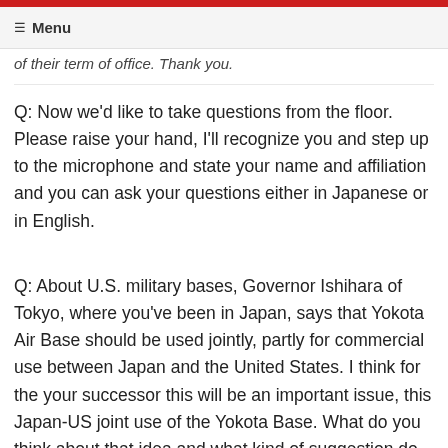☰ Menu
of their term of office. Thank you.
Q: Now we'd like to take questions from the floor. Please raise your hand, I'll recognize you and step up to the microphone and state your name and affiliation and you can ask your questions either in Japanese or in English.
Q: About U.S. military bases, Governor Ishihara of Tokyo, where you've been in Japan, says that Yokota Air Base should be used jointly, partly for commercial use between Japan and the United States. I think for the your successor this will be an important issue, this Japan-US joint use of the Yokota Base. What do you think about that idea and what kind of suggestion do you make to your successor? A special envoy may be sent to Japan about compensation for that submarine incident, what kind of level of a person